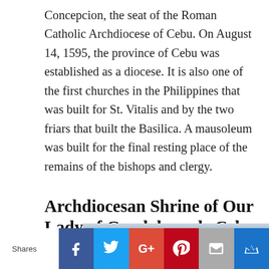Concepcion, the seat of the Roman Catholic Archdiocese of Cebu. On August 14, 1595, the province of Cebu was established as a diocese. It is also one of the first churches in the Philippines that was built for St. Vitalis and by the two friars that built the Basilica. A mausoleum was built for the final resting place of the remains of the bishops and clergy.
Archdiocesan Shrine of Our Lady of Guadalupe de Cebu
[Figure (photo): Sky/cloud background photo strip at top of image section]
Shares | Facebook | Twitter | Google+ | Pinterest | Email | Crown share buttons